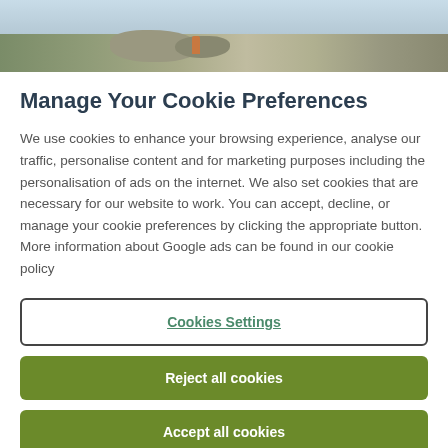[Figure (photo): Landscape photo strip showing rocky terrain and sky at the top of the page]
Manage Your Cookie Preferences
We use cookies to enhance your browsing experience, analyse our traffic, personalise content and for marketing purposes including the personalisation of ads on the internet. We also set cookies that are necessary for our website to work. You can accept, decline, or manage your cookie preferences by clicking the appropriate button. More information about Google ads can be found in our cookie policy
Cookies Settings
Reject all cookies
Accept all cookies